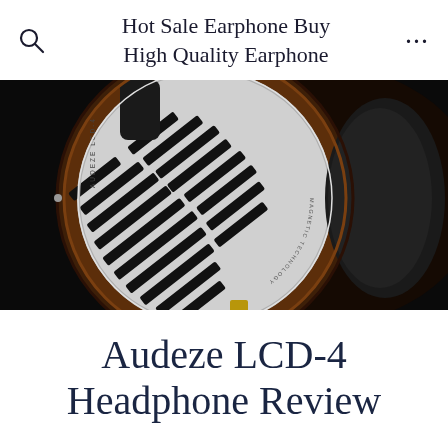Hot Sale Earphone Buy High Quality Earphone
[Figure (photo): Close-up photograph of an Audeze LCD-4 headphone ear cup showing the silver grille with diagonal black slots, wooden ring trim, and leather ear pad against a dark background. The text 'AUDEZE LCD-4' and 'MAGNETIC TECHNOLOGY' is visible on the grille.]
Audeze LCD-4 Headphone Review